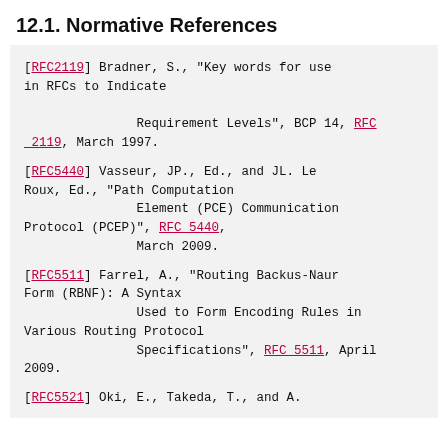12.1. Normative References
[RFC2119]  Bradner, S., "Key words for use in RFCs to Indicate Requirement Levels", BCP 14, RFC 2119, March 1997.
[RFC5440]  Vasseur, JP., Ed., and JL. Le Roux, Ed., "Path Computation Element (PCE) Communication Protocol (PCEP)", RFC 5440, March 2009.
[RFC5511]  Farrel, A., "Routing Backus-Naur Form (RBNF): A Syntax Used to Form Encoding Rules in Various Routing Protocol Specifications", RFC 5511, April 2009.
[RFC5521]  Oki, E., Takeda, T., and A.